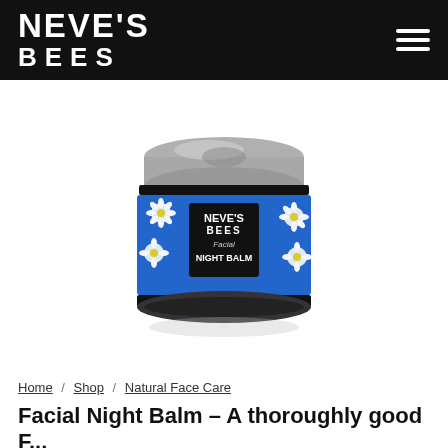NEVE'S BEES
[Figure (photo): A small round jar of Neve's Bees Facial Night Balm with a silver metal screw cap. The jar has a blue label decorated with white daisy flowers and a black square panel showing the Neve's Bees logo and product name 'Facial NIGHT BALM'.]
Home / Shop / Natural Face Care
Facial Night Balm – A thoroughly good F...